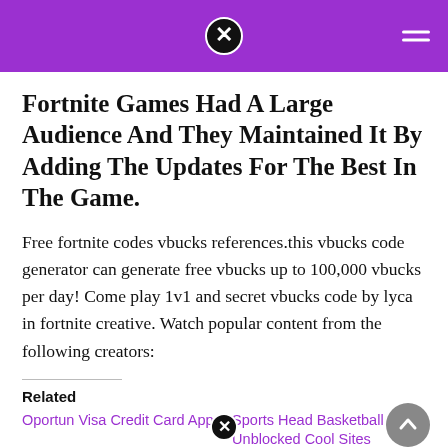Fortnite Games Had A Large Audience And They Maintained It By Adding The Updates For The Best In The Game.
Free fortnite codes vbucks references.this vbucks code generator can generate free vbucks up to 100,000 vbucks per day! Come play 1v1 and secret vbucks code by lyca in fortnite creative. Watch popular content from the following creators:
Related
Oportun Visa Credit Card App
Sports Head Basketball Unblocked Cool Sites